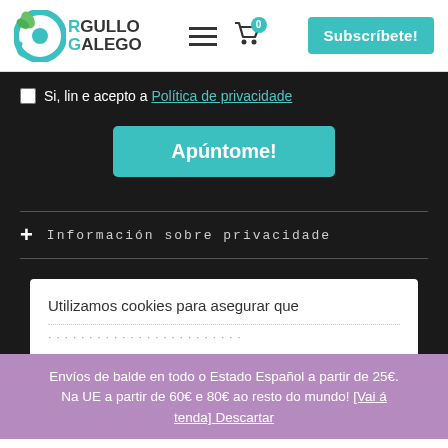[Figure (logo): Orgullo Galego logo with circular teal/green icon and bold text]
Si, lin e acepto a Política de privacidade
Apúntome!
+ Información sobre privacidade
Utilizamos cookies para asegurar que
Envíos de balde en todo o Estado Español a partir de 25€. Na UE a partir de 60€ e 80€ ao resto do mundo! [Vai á tenda] Descartar